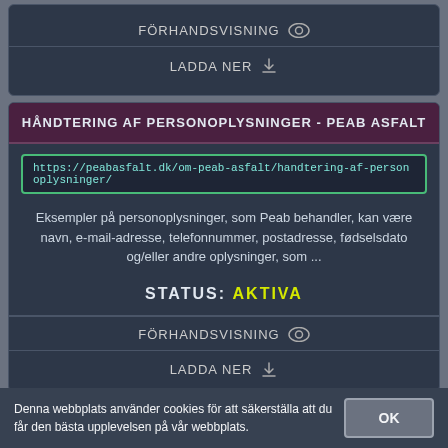FÖRHANDSVISNING
LADDA NER
HÅNDTERING AF PERSONOPLYSNINGER - PEAB ASFALT
https://peabasfalt.dk/om-peab-asfalt/handtering-af-personoplysninger/
Eksempler på personoplysninger, som Peab behandler, kan være navn, e-mail-adresse, telefonnummer, postadresse, fødselsdato og/eller andre oplysninger, som ...
STATUS: AKTIVA
FÖRHANDSVISNING
LADDA NER
Denna webbplats använder cookies för att säkerställa att du får den bästa upplevelsen på vår webbplats.